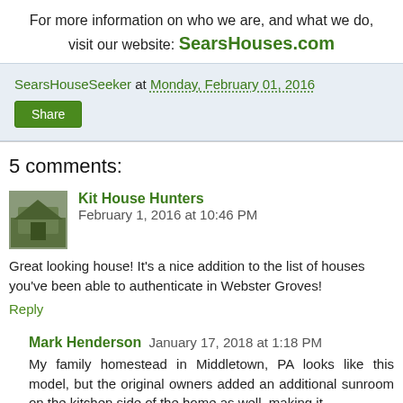For more information on who we are, and what we do, visit our website: SearsHouses.com
SearsHouseSeeker at Monday, February 01, 2016
Share
5 comments:
Kit House Hunters February 1, 2016 at 10:46 PM
Great looking house! It's a nice addition to the list of houses you've been able to authenticate in Webster Groves!
Reply
Mark Henderson January 17, 2018 at 1:18 PM
My family homestead in Middletown, PA looks like this model, but the original owners added an additional sunroom on the kitchen side of the home as well, making it